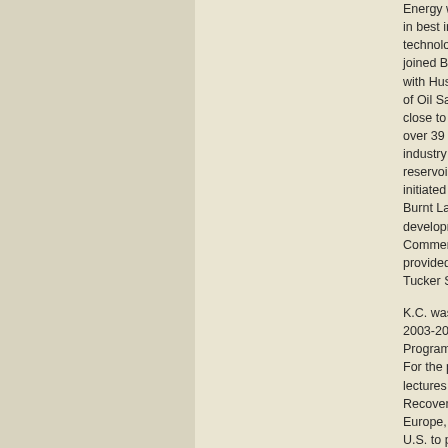Energy where he directed efforts to bring in best industry practices and new technology to the company.  Before he joined Brion in May 2012, he had been with Husky Energy for 4 years as Manager of Oil Sands Technology after spending close to 30 years at Suncor Energy. His over 39 years experience in the heavy oil industry has been primarily in the area of reservoir development and R&D.  He initiated Suncor's first SAGD project at Burnt Lake and was involved in the development of Suncor's Firebag Commercial SAGD Project. He also provided technical guidance on Husky's Tucker SAGD Project and Sunrise Project
K.C. was a Distinguished Lecturer in the 2003-2004 Distinguished Lecturers Program of the Petroleum Society of CIM. For the past few years, He has been giving lectures and short courses on Heavy Oil Recovery Methods in Canada, China, Europe, Middle East, South America and U.S. to promote Canada's heavy oil technology and to share his